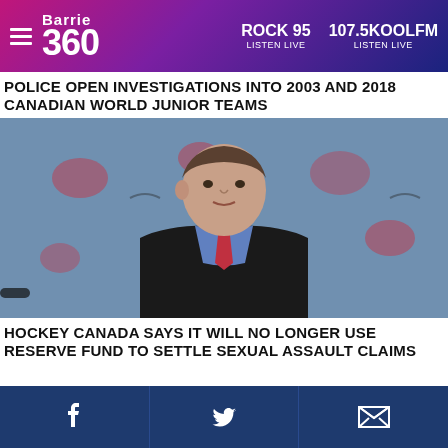Barrie 360 | ROCK 95 LISTEN LIVE | 107.5KOOLFM LISTEN LIVE
POLICE OPEN INVESTIGATIONS INTO 2003 AND 2018 CANADIAN WORLD JUNIOR TEAMS
[Figure (photo): Man in suit speaking at a press conference with Hockey Canada logos in background]
HOCKEY CANADA SAYS IT WILL NO LONGER USE RESERVE FUND TO SETTLE SEXUAL ASSAULT CLAIMS
Facebook | Twitter | Email